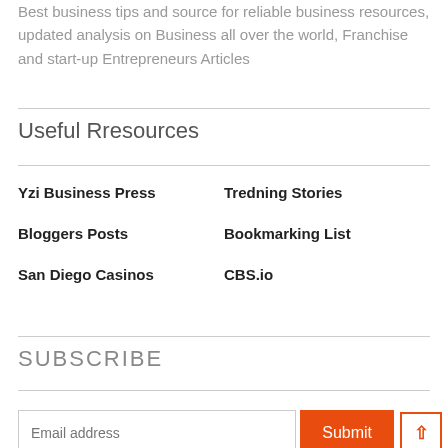Best business tips and source for reliable business resources, updated analysis on Business all over the world, Franchise and start-up Entrepreneurs Articles
Useful Rresources
Yzi Business Press
Tredning Stories
Bloggers Posts
Bookmarking List
San Diego Casinos
CBS.io
SUBSCRIBE